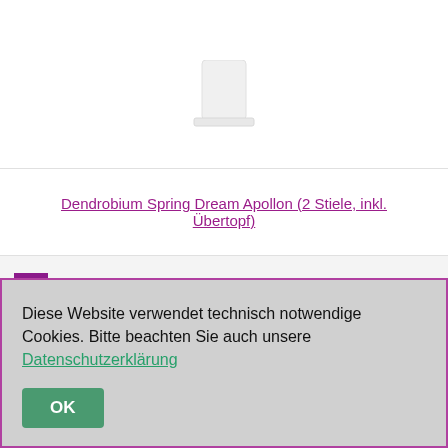[Figure (photo): White ceramic pot/container partially visible at top of page]
Dendrobium Spring Dream Apollon (2 Stiele, inkl. Übertopf)
2 Dendrobium Sa-Nook...
3 Kalanchoe...
Diese Website verwendet technisch notwendige Cookies. Bitte beachten Sie auch unsere Datenschutzerklärung
OK